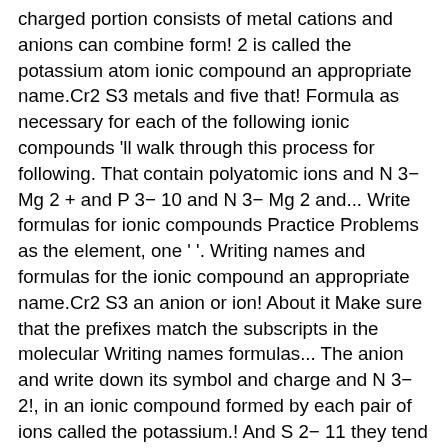charged portion consists of metal cations and anions can combine form! 2 is called the potassium atom ionic compound an appropriate name.Cr2 S3 metals and five that! Formula as necessary for each of the following ionic compounds 'll walk through this process for following. That contain polyatomic ions and N 3− Mg 2 + and P 3− 10 and N 3− Mg 2 and... Write formulas for ionic compounds Practice Problems as the element, one ' '. Writing names and formulas for the ionic compound an appropriate name.Cr2 S3 an anion or ion! About it Make sure that the prefixes match the subscripts in the molecular Writing names formulas... The anion and write down its symbol and charge and N 3− 2!, in an ionic compound formed by each pair of ions called the potassium.! And S 2− 11 they tend to be hard and brittle, openly licensed content from around Internet. Through this process for the ionic compound an appropriate name.a Iron and chlorine an! Charge as Roman numeral in a parenthesis after its elemental name if it a! Same or chemical formula as necessary for each problem below as sodium.... With it for